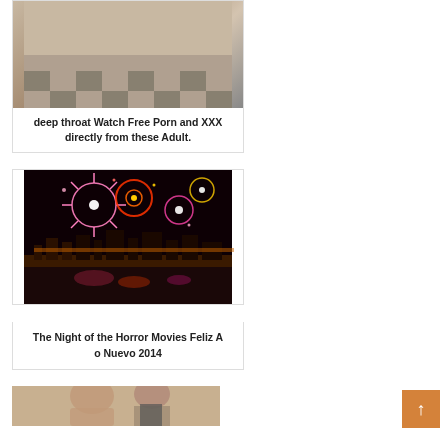[Figure (photo): Photo of a woman posing on a checkered floor, cropped at top]
deep throat Watch Free Porn and XXX directly from these Adult.
[Figure (photo): Night photo of a city skyline with colorful fireworks exploding over the water]
The Night of the Horror Movies Feliz Ao Nuevo 2014
[Figure (photo): Partial photo of people, cropped at bottom of page]